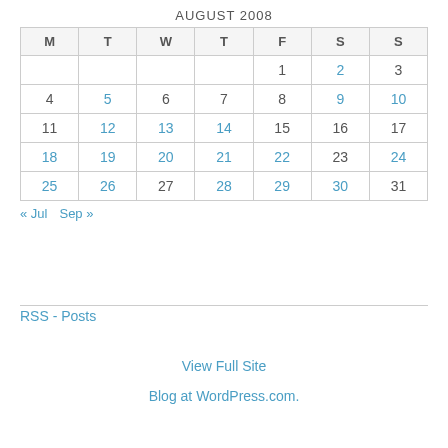AUGUST 2008
| M | T | W | T | F | S | S |
| --- | --- | --- | --- | --- | --- | --- |
|  |  |  |  | 1 | 2 | 3 |
| 4 | 5 | 6 | 7 | 8 | 9 | 10 |
| 11 | 12 | 13 | 14 | 15 | 16 | 17 |
| 18 | 19 | 20 | 21 | 22 | 23 | 24 |
| 25 | 26 | 27 | 28 | 29 | 30 | 31 |
« Jul  Sep »
RSS - Posts
View Full Site
Blog at WordPress.com.